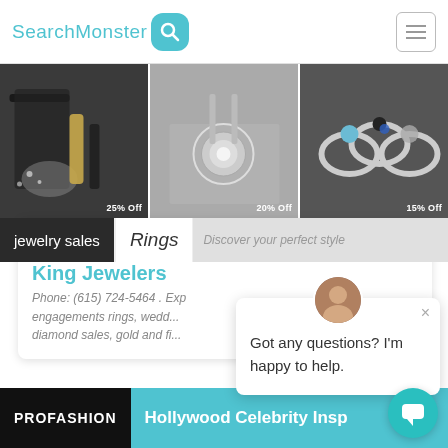SearchMonster [search icon] [hamburger menu]
[Figure (photo): Three jewelry product images in a row: left shows loose diamonds and tools with '25% Off' badge, center shows pendant necklace with '20% Off' badge, right shows gemstone rings with '15% Off' badge.]
jewelry sales   Rings   Discover your perfect style
appraisals
King Jewelers
Phone: (615) 724-5464 . Exp... engagements rings, wedd... diamond sales, gold and fi...
Got any questions? I'm happy to help.
[Figure (photo): Bottom advertisement showing 'PROFASHION' on dark background and 'Hollywood Celebrity Insp' on teal/cyan background.]